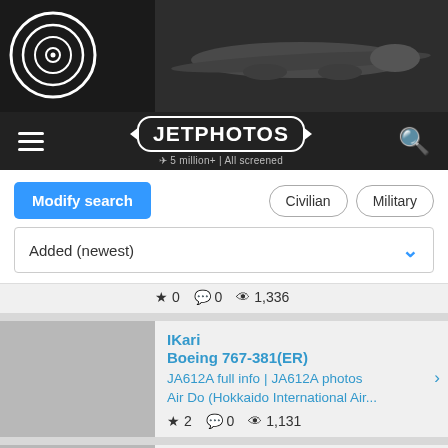[Figure (screenshot): JetPhotos website header with logo circle and airplane banner image on dark background]
JETPHOTOS — 5 million+ | All screened
Modify search | Civilian | Military
Added (newest)
★ 0  💬 0  👁 1,336
IKari | Boeing 767-381(ER) | JA612A full info | JA612A photos | Air Do (Hokkaido International Air... | ★ 2  💬 0  👁 1,131
IKari | Boeing 767-381(ER) | JA613A full info | JA613A photos | Air Do (Hokkaido International Air